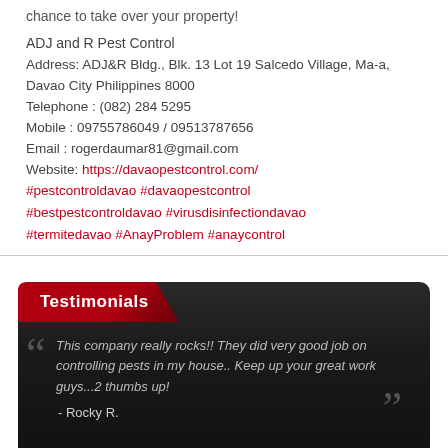chance to take over your property!

ADJ and R Pest Control
Address: ADJ&R Bldg., Blk. 13 Lot 19 Salcedo Village, Ma-a, Davao City Philippines 8000
Telephone : (082) 284 5295
Mobile : 09755786049 / 09513787656
Email : rogerdaumar81@gmail.com
Website: https://davaopestcontrol.com/
#pestcontroldavao #davaopestcontrol
#bestpestcontroldavao #virusdisinfectiondavao
#termitedavao #AnayProblem #anaycontrol
Testimonials
This company really rocks!! They did very good job on controlling pests in my house.. Keep up your great work guys...2 thumbs up!
- Rocky R.